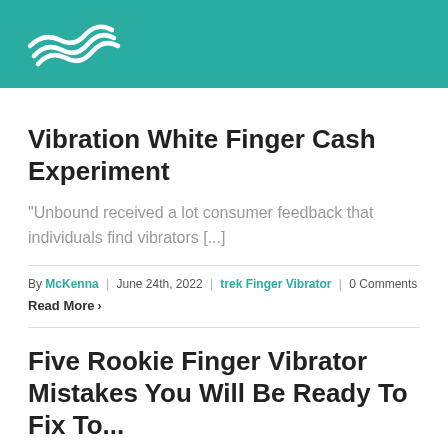[Figure (logo): White wave/swirl logo on teal header background]
Vibration White Finger Cash Experiment
“Unbound received a lot consumer feedback that individuals find vibrators [...]
By McKenna | June 24th, 2022 | trek Finger Vibrator | 0 Comments
Read More ›
Five Rookie Finger Vibrator Mistakes You Will Be Ready To Fix To...